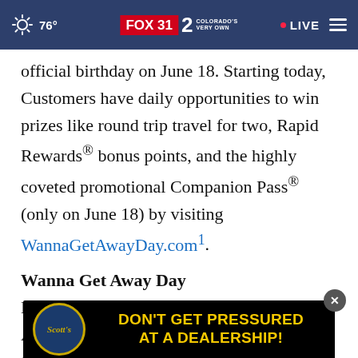76° FOX 31 2 COLORADO'S VERY OWN • LIVE
official birthday on June 18. Starting today, Customers have daily opportunities to win prizes like round trip travel for two, Rapid Rewards® bonus points, and the highly coveted promotional Companion Pass® (only on June 18) by visiting WannaGetAwayDay.com1.
Wanna Get Away Day
Last year, in celebration of the 50th Anniversary of its first commercial flight, Southwest declared and
[Figure (screenshot): Advertisement overlay: Scott's dealership ad reading DON'T GET PRESSURED AT A DEALERSHIP! with Scott's logo]